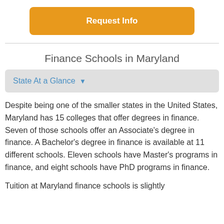[Figure (other): Orange 'Request Info' button]
Finance Schools in Maryland
State At a Glance ▾
Despite being one of the smaller states in the United States, Maryland has 15 colleges that offer degrees in finance. Seven of those schools offer an Associate's degree in finance. A Bachelor's degree in finance is available at 11 different schools. Eleven schools have Master's programs in finance, and eight schools have PhD programs in finance.
Tuition at Maryland finance schools is slightly